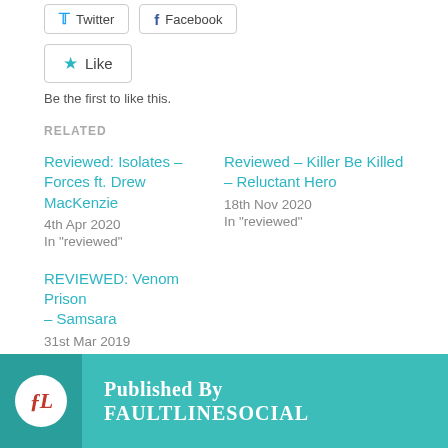[Figure (screenshot): Social sharing buttons: Twitter and Facebook]
[Figure (screenshot): Like button with star icon]
Be the first to like this.
RELATED
Reviewed: Isolates – Forces ft. Drew MacKenzie
4th Apr 2020
In "reviewed"
Reviewed – Killer Be Killed – Reluctant Hero
18th Nov 2020
In "reviewed"
REVIEWED: Venom Prison – Samsara
31st Mar 2019
In "reviewed"
[Figure (logo): FaultlineSocial logo: white circle with stylized FL initials in red on teal background]
Published by
Faultlinesocial